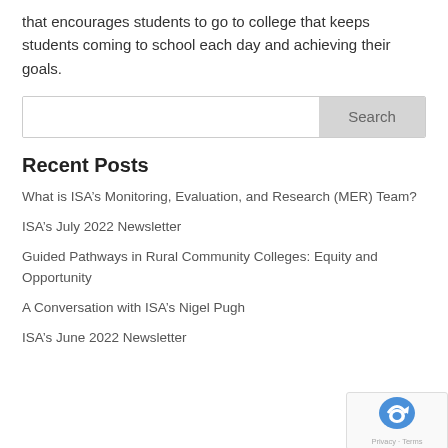that encourages students to go to college that keeps students coming to school each day and achieving their goals.
[Figure (other): Search bar with text input field and Search button]
Recent Posts
What is ISA’s Monitoring, Evaluation, and Research (MER) Team?
ISA’s July 2022 Newsletter
Guided Pathways in Rural Community Colleges: Equity and Opportunity
A Conversation with ISA’s Nigel Pugh
ISA’s June 2022 Newsletter